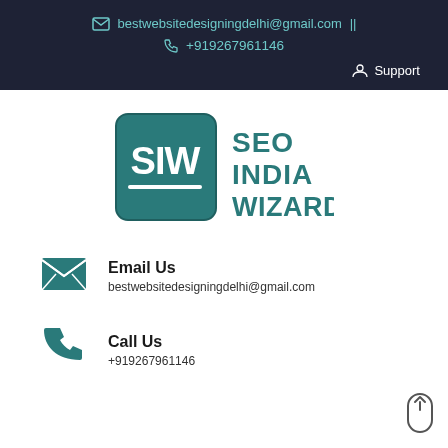bestwebsitedesigningdelhi@gmail.com ||
+919267961146
Support
[Figure (logo): SEO India Wizard logo with SIW monogram in teal square]
Email Us
bestwebsitedesigningdelhi@gmail.com
Call Us
+919267961146